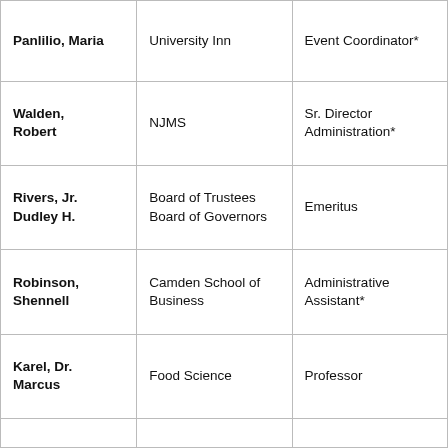| Panlilio, Maria | University Inn | Event Coordinator* |
| Walden, Robert | NJMS | Sr. Director Administration* |
| Rivers, Jr. Dudley H. | Board of Trustees Board of Governors | Emeritus |
| Robinson, Shennell | Camden School of Business | Administrative Assistant* |
| Karel, Dr. Marcus | Food Science | Professor |
|  |  |  |